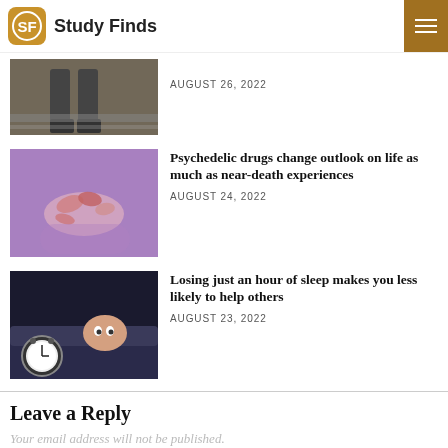Study Finds
[Figure (photo): Cropped photo showing legs/feet of a person on a road or railroad track]
AUGUST 26, 2022
[Figure (photo): Hand holding colorful pills against a purple background]
Psychedelic drugs change outlook on life as much as near-death experiences
AUGUST 24, 2022
[Figure (photo): Woman lying in bed looking scared with alarm clock in foreground]
Losing just an hour of sleep makes you less likely to help others
AUGUST 23, 2022
Leave a Reply
Your email address will not be published.